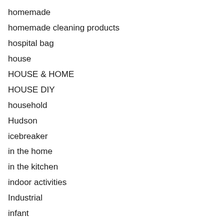homemade
homemade cleaning products
hospital bag
house
HOUSE & HOME
HOUSE DIY
household
Hudson
icebreaker
in the home
in the kitchen
indoor activities
Industrial
infant